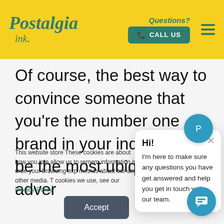[Figure (screenshot): Postalgia Ink website header with yellow background, cursive teal logo, 'Questions? CALL US' button, and hamburger menu]
Of course, the best way to convince someone that you're the number one brand in your industry is to be the most ubiquitous adver
This website store These cookies are about how you inte allow us to remem information in orde your browsing exp metrics about our and other media. T cookies we use, see our Privacy Policy
Hi!
I'm here to make sure any questions you have get answered and help you get in touch with our team.
Accept